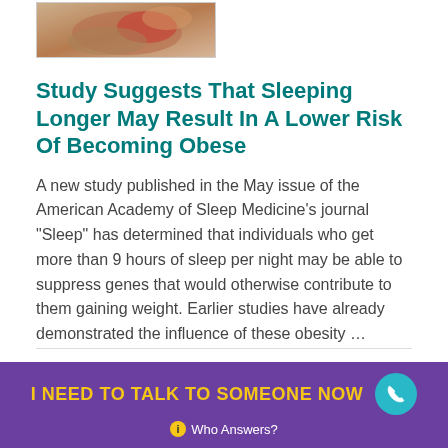[Figure (photo): Partial image of a person, cropped, showing textured skin tones with red and tan colors]
Study Suggests That Sleeping Longer May Result In A Lower Risk Of Becoming Obese
A new study published in the May issue of the American Academy of Sleep Medicine's journal "Sleep" has determined that individuals who get more than 9 hours of sleep per night may be able to suppress genes that would otherwise contribute to them gaining weight. Earlier studies have already demonstrated the influence of these obesity …
READ MORE ▶
I NEED TO TALK TO SOMEONE NOW
ℹ Who Answers?